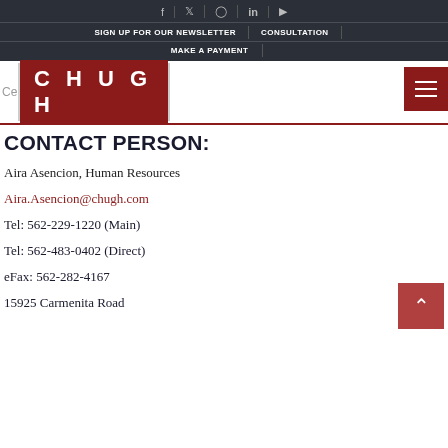Social icons: f, Twitter, Instagram, in, YouTube | SIGN UP FOR OUR NEWSLETTER | CONSULTATION | MAKE A PAYMENT
[Figure (logo): CHUGH law firm logo — red background with white bold spaced letters C H U G H, inside a cream/beige bordered box]
CONTACT PERSON:
Aira Asencion, Human Resources
Aira.Asencion@chugh.com
Tel: 562-229-1220 (Main)
Tel: 562-483-0402 (Direct)
eFax: 562-282-4167
15925 Carmenita Road